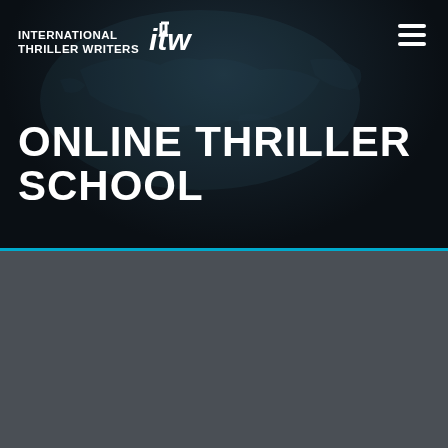[Figure (logo): International Thriller Writers ITW logo with world map background]
ONLINE THRILLER SCHOOL
We use cookies on our website to give you the most relevant experience by remembering your preferences and repeat visits. By clicking "Accept All", you consent to the use of ALL the cookies. However, you may visit "Cookie Settings" to provide a controlled consent.